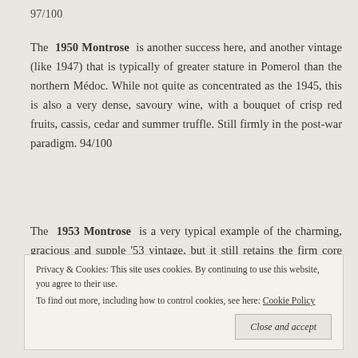97/100
The 1950 Montrose is another success here, and another vintage (like 1947) that is typically of greater stature in Pomerol than the northern Médoc. While not quite as concentrated as the 1945, this is also a very dense, savoury wine, with a bouquet of crisp red fruits, cassis, cedar and summer truffle. Still firmly in the post-war paradigm. 94/100
The 1953 Montrose is a very typical example of the charming, gracious and supple '53 vintage, but it still retains the firm core and amplitude so typical of this estate. A sweet bouquet of cassis,
Privacy & Cookies: This site uses cookies. By continuing to use this website, you agree to their use.
To find out more, including how to control cookies, see here: Cookie Policy
Close and accept